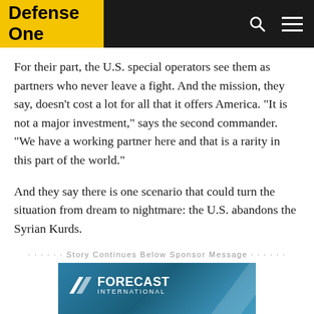Defense One
For their part, the U.S. special operators see them as partners who never leave a fight. And the mission, they say, doesn't cost a lot for all that it offers America. “It is not a major investment,” says the second commander. “We have a working partner here and that is a rarity in this part of the world.”
And they say there is one scenario that could turn the situation from dream to nightmare: the U.S. abandons the Syrian Kurds.
Story Continues Below Sponsor Message
[Figure (other): Forecast International advertisement banner with text 'Future Ready.']